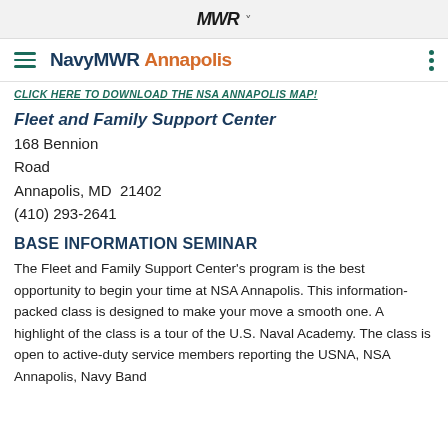MWR
NavyMWR Annapolis
CLICK HERE TO DOWNLOAD THE NSA ANNAPOLIS MAP!
Fleet and Family Support Center
168 Bennion Road
Annapolis, MD  21402
(410) 293-2641
BASE INFORMATION SEMINAR
The Fleet and Family Support Center's program is the best opportunity to begin your time at NSA Annapolis. This information-packed class is designed to make your move a smooth one. A highlight of the class is a tour of the U.S. Naval Academy. The class is open to active-duty service members reporting the USNA, NSA Annapolis, Navy Band